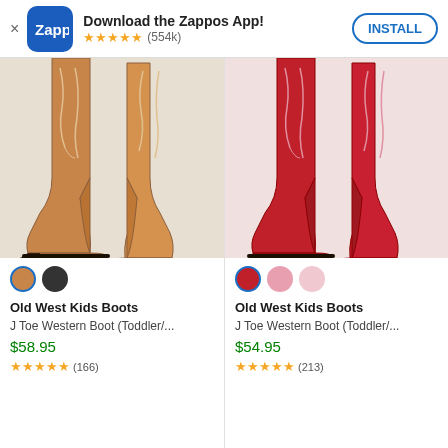Download the Zappos App! ★★★★★ (554k) INSTALL
[Figure (photo): Brown/tan leather cowboy boots (Old West Kids Boots J Toe Western Boot) shown from the front]
[Figure (photo): Red leather cowboy boots (Old West Kids Boots J Toe Western Boot) shown from the front]
Old West Kids Boots
J Toe Western Boot (Toddler/...
$58.95
★★★★★ (166)
Old West Kids Boots
J Toe Western Boot (Toddler/...
$54.95
★★★★★ (213)